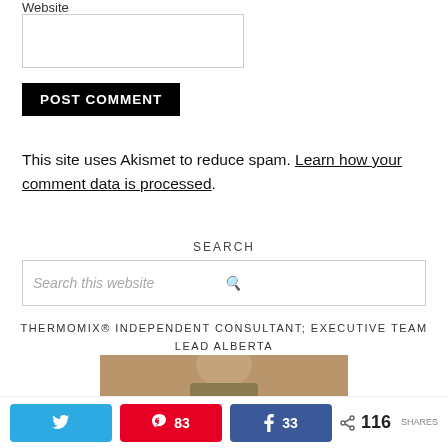Website
POST COMMENT
This site uses Akismet to reduce spam. Learn how your comment data is processed.
SEARCH
Search this website
THERMOMIX® INDEPENDENT CONSULTANT; EXECUTIVE TEAM LEAD ALBERTA
[Figure (photo): Photo of a woman]
116 SHARES  83  33